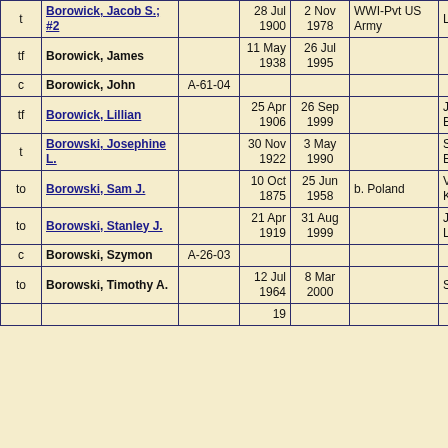|  | Name | Location | Born | Died | Notes | Spouse/Family |
| --- | --- | --- | --- | --- | --- | --- |
| t | Borowick, Jacob S.; #2 |  | 28 Jul 1900 | 2 Nov 1978 | WWI-Pvt US Army | Lillian |
| tf | Borowick, James |  | 11 May 1938 | 26 Jul 1995 |  |  |
| c | Borowick, John | A-61-04 |  |  |  |  |
| tf | Borowick, Lillian |  | 25 Apr 1906 | 26 Sep 1999 |  | Jacob S. Borowick |
| t | Borowski, Josephine L. |  | 30 Nov 1922 | 3 May 1990 |  | Stanley J. Borowski |
| to | Borowski, Sam J. |  | 10 Oct 1875 | 25 Jun 1958 | b. Poland | Veronica Karpinski |
| to | Borowski, Stanley J. |  | 21 Apr 1919 | 31 Aug 1999 |  | Josephine Lendosky |
| c | Borowski, Szymon | A-26-03 |  |  |  |  |
| to | Borowski, Timothy A. |  | 12 Jul 1964 | 8 Mar 2000 |  | Single |
|  |  |  | 19 |  |  |  |